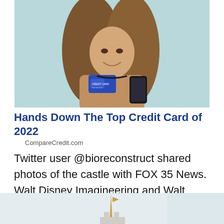[Figure (photo): Woman smiling, holding a blue credit card and a smartphone against a light teal background]
Hands Down The Top Credit Card of 2022
CompareCredit.com
Twitter user @bioreconstruct shared photos of the castle with FOX 35 News. Walt Disney Imagineering and Walt Disney World teams installed the new decor, featuring a royal blue jewel with gold detailing and shimmering draping.
[Figure (photo): Partial view of a castle spire or tower against a light sky background]